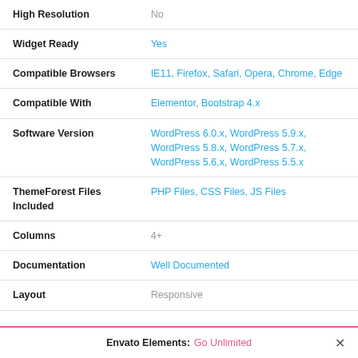| Property | Value |
| --- | --- |
| High Resolution | No |
| Widget Ready | Yes |
| Compatible Browsers | IE11, Firefox, Safari, Opera, Chrome, Edge |
| Compatible With | Elementor, Bootstrap 4.x |
| Software Version | WordPress 6.0.x, WordPress 5.9.x, WordPress 5.8.x, WordPress 5.7.x, WordPress 5.6.x, WordPress 5.5.x |
| ThemeForest Files Included | PHP Files, CSS Files, JS Files |
| Columns | 4+ |
| Documentation | Well Documented |
| Layout | Responsive |
Envato Elements: Go Unlimited ✕